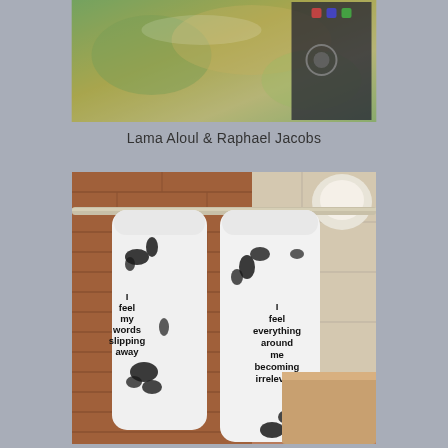[Figure (photo): A photo showing what appears to be a satellite or aerial view image displayed on a screen or surface, with greenish-brown terrain visible and some interface elements in the corner.]
Lama Aloul & Raphael Jacobs
[Figure (photo): A photo of white socks hanging on a towel bar in what appears to a bathroom with brick wall background. The socks have black text and black splatter/ink marks on them. The left sock reads 'I feel my words slipping away' and the right sock reads 'I feel everything around me becoming irrelevant'.]